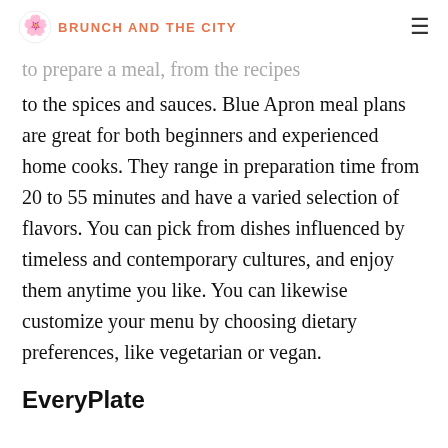BRUNCH AND THE CITY
to the spices and sauces. Blue Apron meal plans are great for both beginners and experienced home cooks. They range in preparation time from 20 to 55 minutes and have a varied selection of flavors. You can pick from dishes influenced by timeless and contemporary cultures, and enjoy them anytime you like. You can likewise customize your menu by choosing dietary preferences, like vegetarian or vegan.
EveryPlate